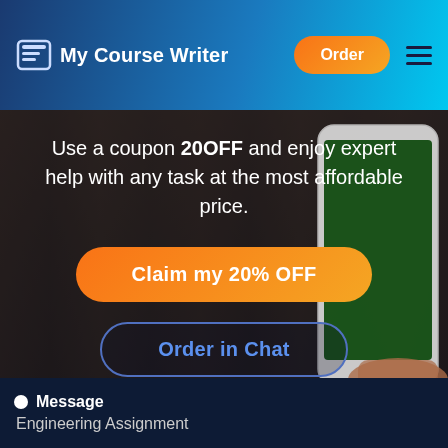My Course Writer | Order
Use a coupon 20OFF and enjoy expert help with any task at the most affordable price.
Claim my 20% OFF
Order in Chat
Message
Engineering Assignment